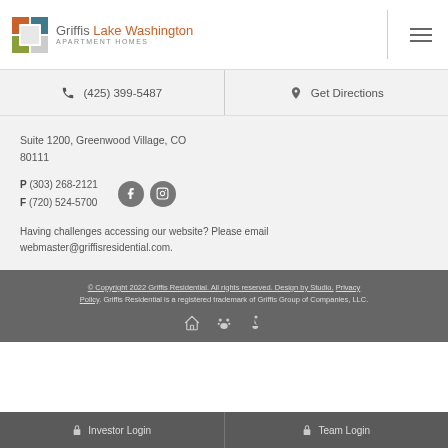Griffis Lake Washington APARTMENT HOMES
(425) 399-5487
Get Directions
Suite 1200, Greenwood Village, CO 80111
P (303) 268-2121
F (720) 524-5700
Having challenges accessing our website? Please email webmaster@griffisresidential.com.
© Copyright 2022 Griffis Residential. All rights reserved. Design by Studio. Privacy Policy. Griffis Residential is a registered trademark of Griffis Group of Companies, LLC.
Investor Login
Team Login